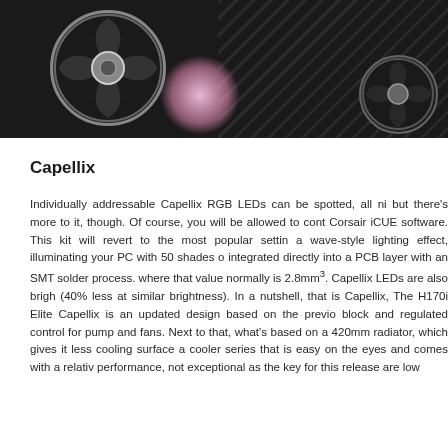[Figure (photo): Close-up photo of a Corsair liquid CPU cooler showing fans with black blades, a circular hub with chrome trim, RGB lighting glow (pink/white), and a dark textured radiator with cross-hatch pattern in the background.]
Capellix
Individually addressable Capellix RGB LEDs can be spotted, all ni but there's more to it, though. Of course, you will be allowed to cont Corsair iCUE software. This kit will revert to the most popular settin a wave-style lighting effect, illuminating your PC with 50 shades o integrated directly into a PCB layer with an SMT solder process. where that value normally is 2.8mm³. Capellix LEDs are also brigh (40% less at similar brightness). In a nutshell, that is Capellix, The H170i Elite Capellix is an updated design based on the previo block and regulated control for pump and fans. Next to that, what's based on a 420mm radiator, which gives it less cooling surface a cooler series that is easy on the eyes and comes with a relativ performance, not exceptional as the key for this release are low